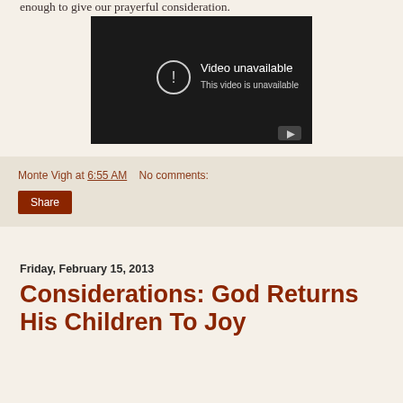enough to give our prayerful consideration.
[Figure (screenshot): Embedded YouTube video player showing 'Video unavailable – This video is unavailable' error message on a dark background, with a YouTube play button icon in the bottom-right corner.]
Monte Vigh at 6:55 AM    No comments:
Share
Friday, February 15, 2013
Considerations: God Returns His Children To Joy